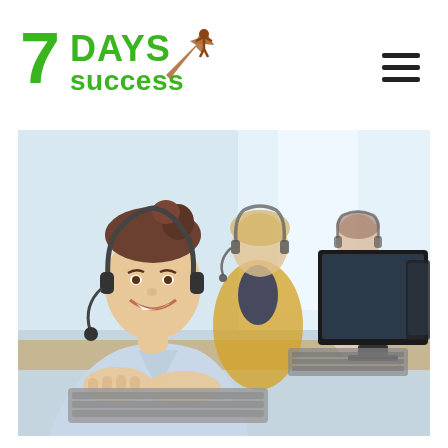[Figure (logo): 7 Days Success logo: green stylized '7' with 'DAYS' in bold green caps and 'success' in green lowercase, with a brown/copper rising arrow and person icon]
[Figure (photo): Call center workers wearing headsets sitting at computers; a smiling young woman in the foreground with colleagues behind her, all working at desktop computers in a bright office environment]